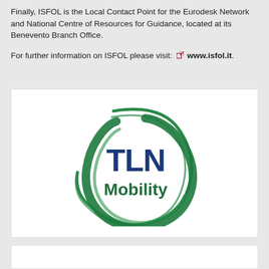Finally, ISFOL is the Local Contact Point for the Eurodesk Network and National Centre of Resources for Guidance, located at its Benevento Branch Office.
For further information on ISFOL please visit: www.isfol.it.
[Figure (logo): TLN Mobility logo — a green swooping crescent/arc shape on the left, with 'TLN' in bold dark blue text and 'Mobility' in bold dark green text]